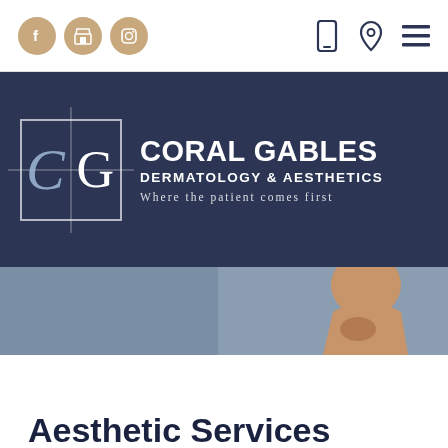[Figure (screenshot): Navigation bar with social media icons (Facebook, store, Instagram) on left and phone, location, hamburger menu icons on right]
[Figure (logo): Coral Gables Dermatology & Aesthetics logo on dark navy background with CG monogram in bordered box. Tagline: Where the patient comes first]
[Figure (photo): Photo strip showing woman touching her face/chin against blue-grey background]
Aesthetic Services